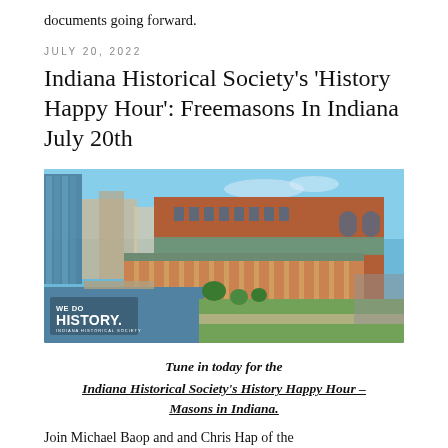documents going forward.
JULY 20, 2022
Indiana Historical Society's ‘History Happy Hour’: Freemasons In Indiana July 20th
[Figure (photo): Aerial view of the Indiana Historical Society building along a canal in Indianapolis, with a green roof, brick exterior, and city skyline in the background. White text overlay reads 'WE DO HISTORY. INDIANA HISTORICAL SOCIETY']
Tune in today for the
Indiana Historical Society’s History Happy Hour –
Masons in Indiana.
Join Michael Baop and and Chris Hap of the